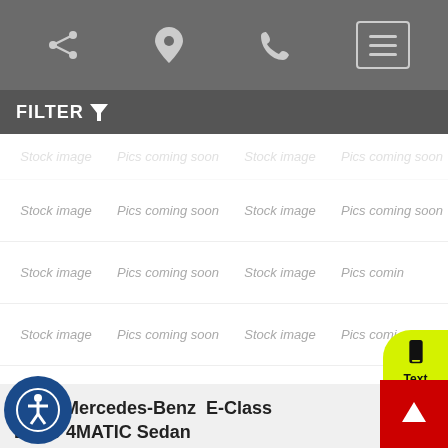Navigation bar with share, location, phone, and menu icons
FILTER
[Figure (screenshot): Grid of placeholder car listing tiles showing 'Stock image' and 'Pics coming soon' labels in multiple rows]
2018 Mercedes-Benz E-Class E 300 4MATIC Sedan
69,396 miles
$36,995 $35,995
Value Your Trade
Chat/Text Us
CarGurus
TOP-RATED DEALER
Text Us
Trade-in